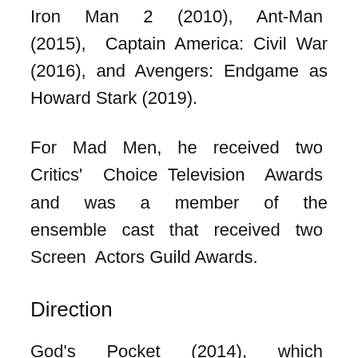Iron Man 2 (2010), Ant-Man (2015), Captain America: Civil War (2016), and Avengers: Endgame as Howard Stark (2019).
For Mad Men, he received two Critics' Choice Television Awards and was a member of the ensemble cast that received two Screen Actors Guild Awards.
Direction
God's Pocket (2014), which Slattery co-wrote with Alex Metcalf, was his debut feature film, which he directed in 2013. The film premiered at the 2014 Sundance Film Festival and was picked up for